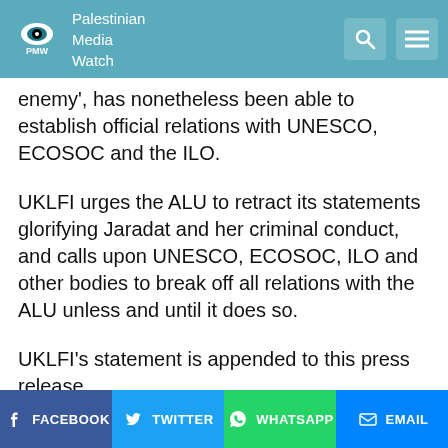Palestinian Media Watch
enemy', has nonetheless been able to establish official relations with UNESCO, ECOSOC and the ILO.
UKLFI urges the ALU to retract its statements glorifying Jaradat and her criminal conduct, and calls upon UNESCO, ECOSOC, ILO and other bodies to break off all relations with the ALU unless and until it does so.
UKLFI's statement is appended to this press release.
About UK Lawyers for Israel:
UKLFI was founded in June 2011 as a group of
FACEBOOK  TWITTER  WHATSAPP  EMAIL